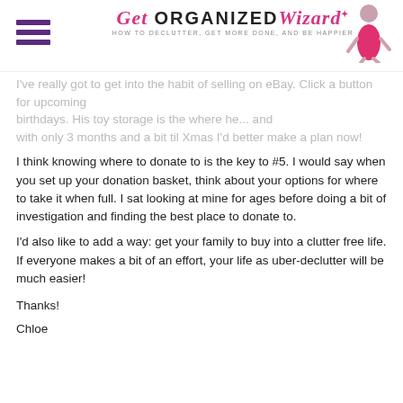Get Organized Wizard — HOW TO DECLUTTER, GET MORE DONE, AND BE HAPPIER
I've really got to get into the habit of selling on eBay. Click a button for upcoming birthdays. His toy storage is the where he... and with only 3 months and a bit til Xmas I'd better make a plan now!
I think knowing where to donate to is the key to #5. I would say when you set up your donation basket, think about your options for where to take it when full. I sat looking at mine for ages before doing a bit of investigation and finding the best place to donate to.
I'd also like to add a way: get your family to buy into a clutter free life. If everyone makes a bit of an effort, your life as uber-declutter will be much easier!
Thanks!
Chloe